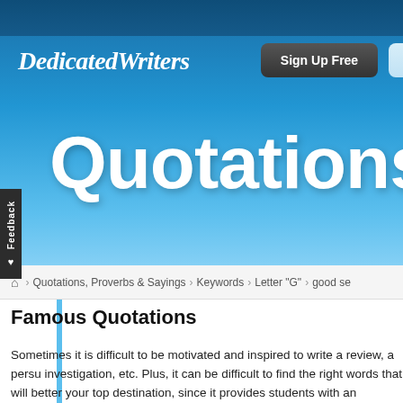DedicatedWriters
Sign Up Free
Essa
Quotations
Feedback
🏠 > Quotations, Proverbs & Sayings > Keywords > Letter "G" > good se
Famous Quotations
Sometimes it is difficult to be motivated and inspired to write a review, a persu investigation, etc. Plus, it can be difficult to find the right words that will better your top destination, since it provides students with an updated database of m famous inventors, sportsmen, philosophers, artists, celebrities, businessmen,